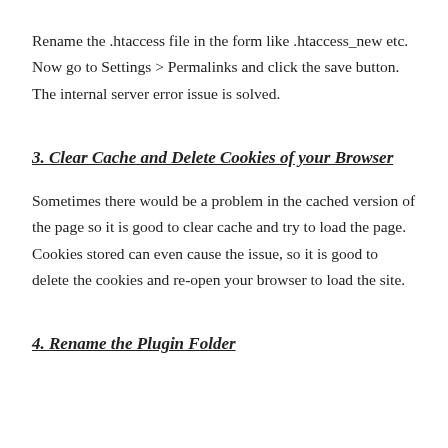Rename the .htaccess file in the form like .htaccess_new etc. Now go to Settings > Permalinks and click the save button. The internal server error issue is solved.
3. Clear Cache and Delete Cookies of your Browser
Sometimes there would be a problem in the cached version of the page so it is good to clear cache and try to load the page. Cookies stored can even cause the issue, so it is good to delete the cookies and re-open your browser to load the site.
4. Rename the Plugin Folder